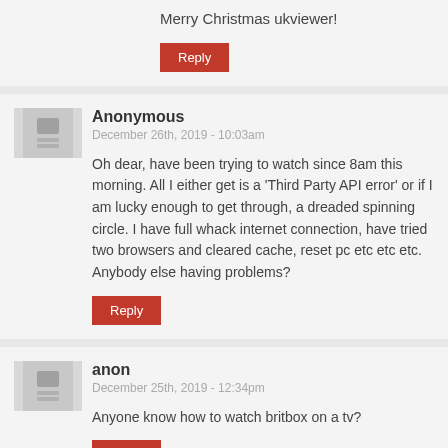Merry Christmas ukviewer!
Reply
Anonymous
December 26th, 2019 - 10:03am
Oh dear, have been trying to watch since 8am this morning. All I either get is a 'Third Party API error' or if I am lucky enough to get through, a dreaded spinning circle. I have full whack internet connection, have tried two browsers and cleared cache, reset pc etc etc etc. Anybody else having problems?
Reply
anon
December 25th, 2019 - 12:34pm
Anyone know how to watch britbox on a tv?
Reply
UKViewer